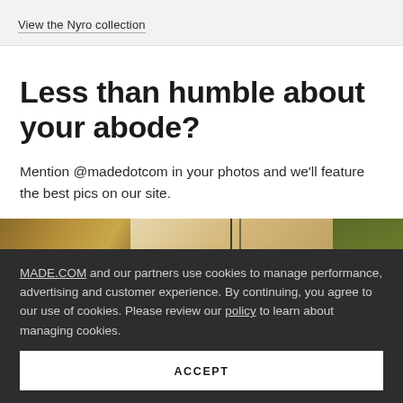View the Nyro collection
Less than humble about your abode?
Mention @madedotcom in your photos and we'll feature the best pics on our site.
[Figure (photo): Two photos side by side: a wooden cabinet/furniture piece on the left, and a green paneled wall/furniture on the right]
MADE.COM and our partners use cookies to manage performance, advertising and customer experience. By continuing, you agree to our use of cookies. Please review our policy to learn about managing cookies.
ACCEPT